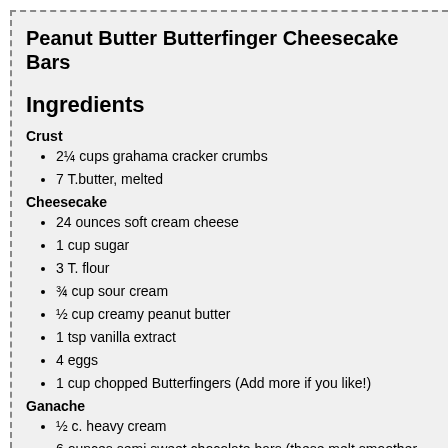Peanut Butter Butterfinger Cheesecake Bars
Ingredients
Crust
2¼ cups grahama cracker crumbs
7 T.butter, melted
Cheesecake
24 ounces soft cream cheese
1 cup sugar
3 T. flour
¾ cup sour cream
½ cup creamy peanut butter
1 tsp vanilla extract
4 eggs
1 cup chopped Butterfingers (Add more if you like!)
Ganache
½ c. heavy cream
6 ounces semi sweet chocolate bars (these melt smoother than ch
Instructions
Preheat oven to 325°F. Line a 9x13 pan with nonstick foil.